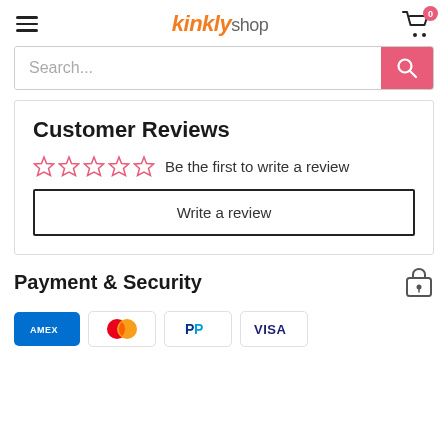kinkly shop — navigation header with hamburger menu and cart (0 items)
Search...
Customer Reviews
☆☆☆☆☆ Be the first to write a review
Write a review
Payment & Security
[Figure (logo): Payment method logos: American Express, Mastercard, PayPal, Visa]